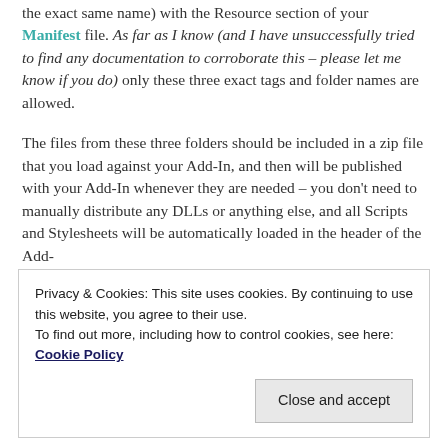the exact same name) with the Resource section of your Manifest file. As far as I know (and I have unsuccessfully tried to find any documentation to corroborate this – please let me know if you do) only these three exact tags and folder names are allowed.
The files from these three folders should be included in a zip file that you load against your Add-In, and then will be published with your Add-In whenever they are needed – you don't need to manually distribute any DLLs or anything else, and all Scripts and Stylesheets will be automatically loaded in the header of the Add-
Privacy & Cookies: This site uses cookies. By continuing to use this website, you agree to their use.
To find out more, including how to control cookies, see here: Cookie Policy